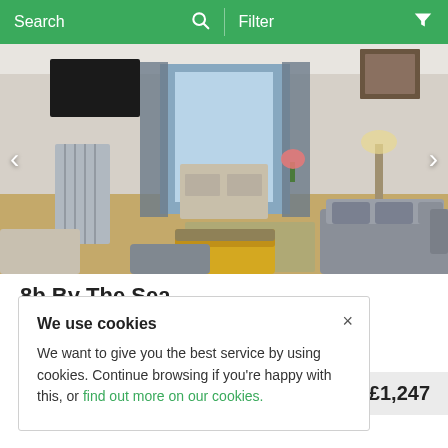Search  Filter
[Figure (photo): Interior living room photo showing grey sofas, yellow accent chair, glass coffee table, flowers, and bi-fold doors to a patio]
8b By The Sea
Caister-on-Sea, Norfolk
We use cookies
We want to give you the best service by using cookies. Continue browsing if you're happy with this, or find out more on our cookies.
£1,247